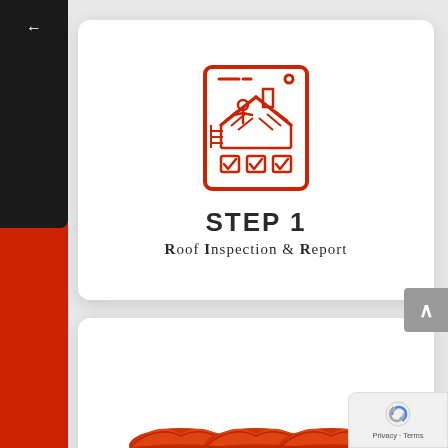[Figure (illustration): Red outline icon of a roof inspection checklist with a house roof, person, and three checkboxes]
STEP 1
Roof Inspection & Report
[Figure (illustration): Red/orange illustration of layered roof tiles/shingles]
[Figure (logo): Google reCAPTCHA badge with Privacy and Terms links]